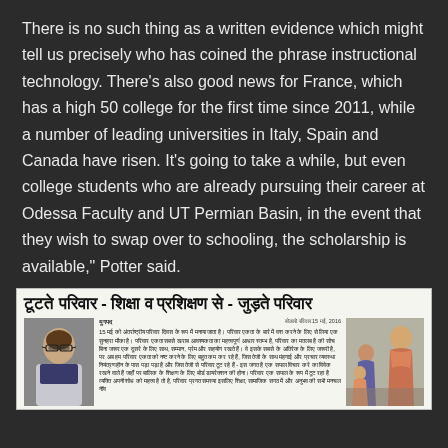There is no such thing as a written evidence which might tell us precisely who has coined the phrase instructional technology. There's also good news for France, which has a high 50 college for the first time since 2011, while a number of leading universities in Italy, Spain and Canada have risen. It's going to take a while, but even college students who are already pursuing their career at Odessa Faculty and UT Permian Basin, in the event that they wish to swap over to schooling, the scholarship is available," Potter said.
[Figure (photo): Newspaper clipping in Hindi. Headline reads: टूटते परिवार - शिक्षा व प्रशिक्षण से - जुड़ते परिवार. Contains a photo of a man with glasses on the left and a woman in traditional attire on the right, with Hindi article text in the middle. Newspaper logo 'युगपद' visible.]